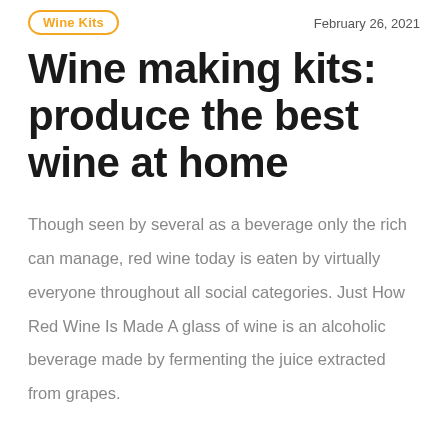Wine Kits | February 26, 2021
Wine making kits: produce the best wine at home
Though seen by several as a beverage only the rich can manage, red wine today is eaten by virtually everyone throughout all social categories. Just How Red Wine Is Made A glass of wine is an alcoholic beverage made by fermenting the juice extracted from grapes.